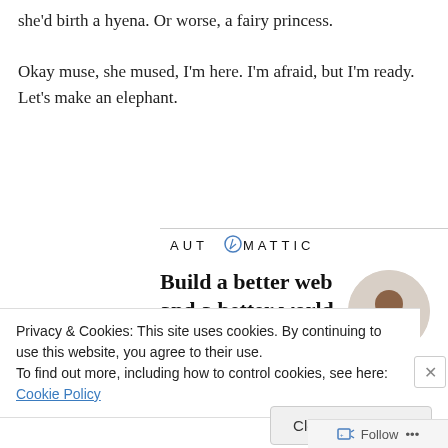she'd birth a hyena. Or worse, a fairy princess.

Okay muse, she mused, I'm here. I'm afraid, but I'm ready. Let's make an elephant.
[Figure (logo): Automattic logo with stylized compass O]
[Figure (infographic): Automattic job ad: 'Build a better web and a better world.' with Apply button and photo of person]
Privacy & Cookies: This site uses cookies. By continuing to use this website, you agree to their use.
To find out more, including how to control cookies, see here: Cookie Policy
Close and accept
Follow